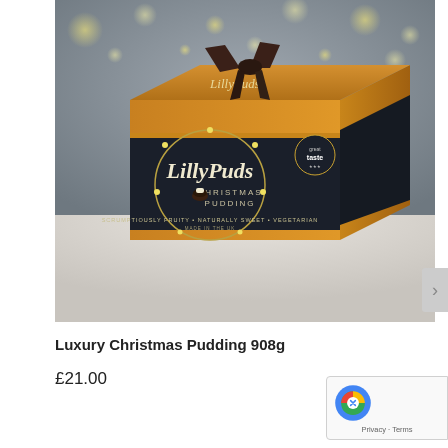[Figure (photo): A LillyPuds Christmas Pudding box (908g) in a brown kraft cardboard box with a dark navy/black label band showing the LillyPuds brand name and 'Christmas Pudding', tied with a dark ribbon bow on top. The box has a 'great taste' award badge. Text on label reads 'Scrumptiously Fruity • Naturally Sweet • Vegetarian' and 'Made in the UK'. Background shows bokeh fairy lights.]
Luxury Christmas Pudding 908g
£21.00